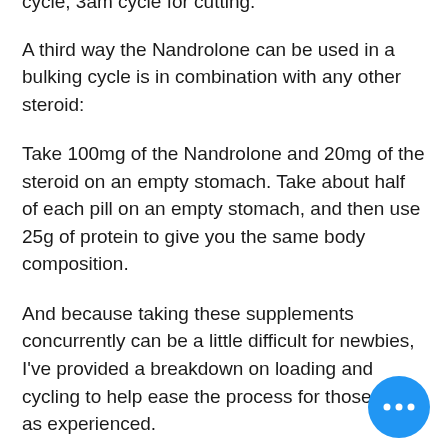cycle, 3am cycle for cutting.
A third way the Nandrolone can be used in a bulking cycle is in combination with any other steroid:
Take 100mg of the Nandrolone and 20mg of the steroid on an empty stomach. Take about half of each pill on an empty stomach, and then use 25g of protein to give you the same body composition.
And because taking these supplements concurrently can be a little difficult for newbies, I've provided a breakdown on loading and cycling to help ease the process for those not as experienced.
Loading
The good news is that you can take up of Nandrolone before bed (with the exception